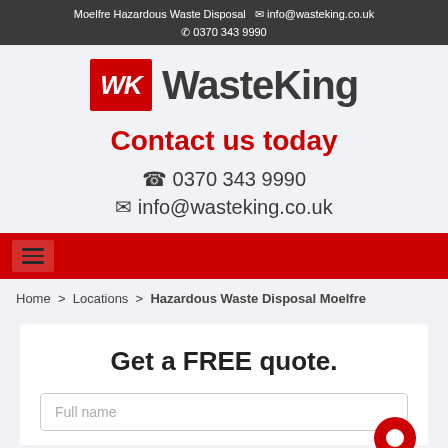Moelfre Hazardous Waste Disposal  ✉ info@wasteking.co.uk  ✆ 0370 343 9990
[Figure (logo): WasteKing logo: red square with white WK initials and dark grey WasteKing wordmark]
Contact us today
☎ 0370 343 9990
✉ info@wasteking.co.uk
[Figure (other): Red navigation bar with hamburger menu icon]
Home > Locations > Hazardous Waste Disposal Moelfre
Get a FREE quote.
Full name